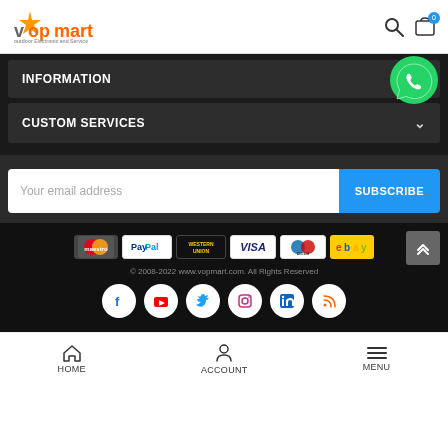[Figure (logo): Vopmart logo with orange star and text, subtitle 'outdoor Electronic and Service']
INFORMATION
CUSTOM SERVICES
[Figure (illustration): WhatsApp green chat bubble icon]
Your email address
SUBSCRIBE
[Figure (illustration): Payment method icons: Maestro, PayPal, Western Union, Visa, Cirrus, eBay]
© 2008-2022 www.vopmart.com. All Rights Reserved
[Figure (illustration): Social media icons: Facebook, YouTube, Twitter, Instagram, LinkedIn, RSS]
HOME  ACCOUNT  MENU